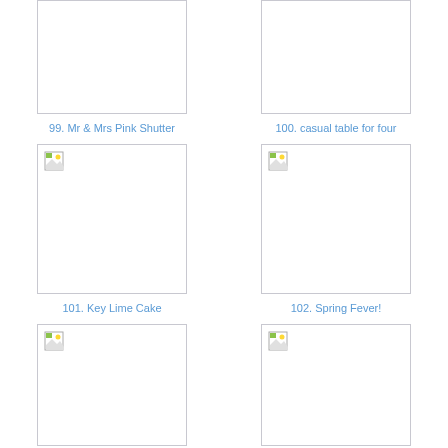[Figure (screenshot): Thumbnail placeholder image 99, broken image icon visible]
99. Mr & Mrs Pink Shutter
[Figure (screenshot): Thumbnail placeholder image 100, no broken icon visible]
100. casual table for four
[Figure (screenshot): Thumbnail placeholder image 101, broken image icon visible]
101. Key Lime Cake
[Figure (screenshot): Thumbnail placeholder image 102, broken image icon visible]
102. Spring Fever!
[Figure (screenshot): Thumbnail placeholder image 103, broken image icon visible]
[Figure (screenshot): Thumbnail placeholder image 104, broken image icon visible]